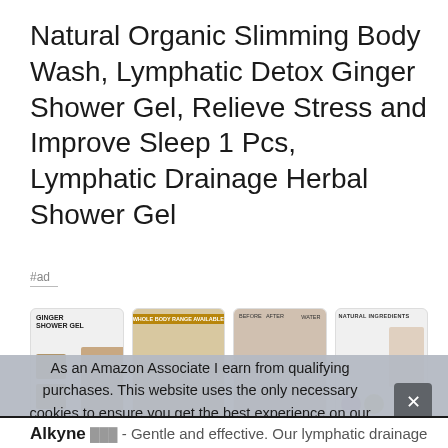Natural Organic Slimming Body Wash, Lymphatic Detox Ginger Shower Gel, Relieve Stress and Improve Sleep 1 Pcs, Lymphatic Drainage Herbal Shower Gel
#ad
[Figure (screenshot): Four product images in a row showing a ginger shower gel product - first shows 'GINGER SHOWER GEL' label with a person, second shows 'WHOLE BODY RANGE AVAILABLE' banner, third shows product images with arrows, fourth shows 'NATURAL INGREDIENTS' label with icons]
As an Amazon Associate I earn from qualifying purchases. This website uses the only necessary cookies to ensure you get the best experience on our website. More information
Alkyne - Gentle and effective. Our lymphatic drainage